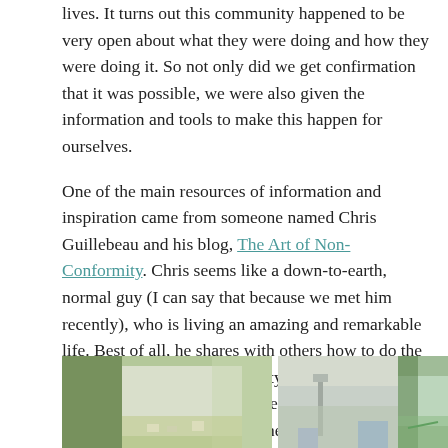lives. It turns out this community happened to be very open about what they were doing and how they were doing it. So not only did we get confirmation that it was possible, we were also given the information and tools to make this happen for ourselves.
One of the main resources of information and inspiration came from someone named Chris Guillebeau and his blog, The Art of Non-Conformity. Chris seems like a down-to-earth, normal guy (I can say that because we met him recently), who is living an amazing and remarkable life. Best of all, he shares with others how to do the same and inspires a community of like-minded folk to come together every summer in Portland for a gathering he founded called the World Domination Summit (WDS).
[Figure (photo): Three photos side by side showing outdoor scenes, appears to be from a summer gathering or event]